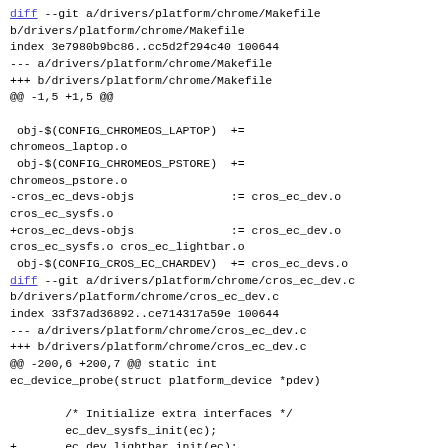diff --git a/drivers/platform/chrome/Makefile b/drivers/platform/chrome/Makefile
index 3e7980b9bc86..cc5d2f294c40 100644
--- a/drivers/platform/chrome/Makefile
+++ b/drivers/platform/chrome/Makefile
@@ -1,5 +1,5 @@

 obj-$(CONFIG_CHROMEOS_LAPTOP)  +=
chromeos_laptop.o
 obj-$(CONFIG_CHROMEOS_PSTORE)  +=
chromeos_pstore.o
-cros_ec_devs-objs              := cros_ec_dev.o
cros_ec_sysfs.o
+cros_ec_devs-objs              := cros_ec_dev.o
cros_ec_sysfs.o cros_ec_lightbar.o
 obj-$(CONFIG_CROS_EC_CHARDEV)  += cros_ec_devs.o
diff --git a/drivers/platform/chrome/cros_ec_dev.c b/drivers/platform/chrome/cros_ec_dev.c
index 33f37ad36892..ce714317a59e 100644
--- a/drivers/platform/chrome/cros_ec_dev.c
+++ b/drivers/platform/chrome/cros_ec_dev.c
@@ -200,6 +200,7 @@ static int
ec_device_probe(struct platform_device *pdev)

        /* Initialize extra interfaces */
        ec_dev_sysfs_init(ec);
+       ec_dev_lightbar_init(ec);

        return 0;
 }